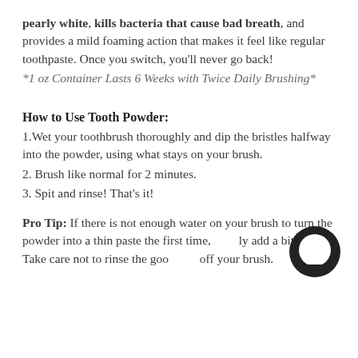pearly white, kills bacteria that cause bad breath, and provides a mild foaming action that makes it feel like regular toothpaste. Once you switch, you'll never go back!
*1 oz Container Lasts 6 Weeks with Twice Daily Brushing*
How to Use Tooth Powder:
1.Wet your toothbrush thoroughly and dip the bristles halfway into the powder, using what stays on your brush.
2. Brush like normal for 2 minutes.
3. Spit and rinse! That’s it!
Pro Tip: If there is not enough water on your brush to turn the powder into a thin paste the first time, simply add a bit more. Take care not to rinse the good stuff off your brush.